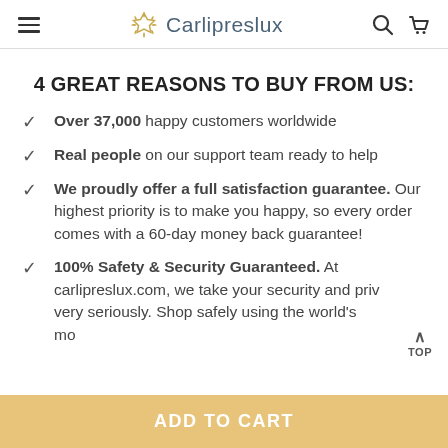Carlipreslux
4 GREAT REASONS TO BUY FROM US:
Over 37,000 happy customers worldwide
Real people on our support team ready to help
We proudly offer a full satisfaction guarantee. Our highest priority is to make you happy, so every order comes with a 60-day money back guarantee!
100% Safety & Security Guaranteed. At carlipreslux.com, we take your security and privacy very seriously. Shop safely using the world's mo...